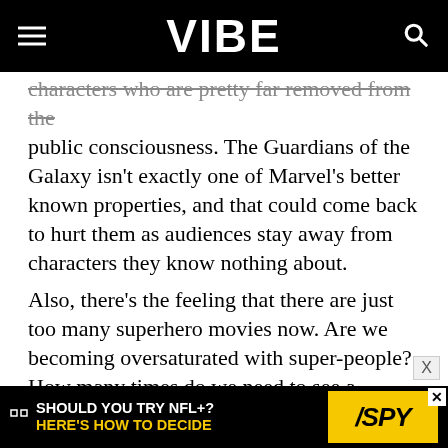VIBE
characters who are pretty far removed from the public consciousness. The Guardians of the Galaxy isn't exactly one of Marvel's better known properties, and that could come back to hurt them as audiences stay away from characters they know nothing about.
Also, there's the feeling that there are just too many superhero movies now. Are we becoming oversaturated with super-people? How many times do we need to see a character or a group of characters fight against An Unstoppable Force in hopes of saving the city/world/galaxy?
Guardians of the Galaxy recently released a trailer that emphasizes the humor that will take center
[Figure (screenshot): Advertisement banner reading 'SHOULD YOU TRY NFL+? HERE'S HOW TO DECIDE' with SPY logo in yellow]